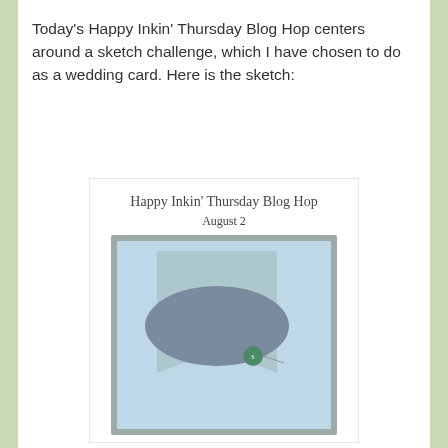Today's Happy Inkin' Thursday Blog Hop centers around a sketch challenge, which I have chosen to do as a wedding card. Here is the sketch:
[Figure (illustration): Card sketch diagram titled 'Happy Inkin' Thursday Blog Hop / August 2'. Shows a card layout with a light blue rectangle containing a banner/pennant shape at the bottom and a large dark blue-grey ellipse in the upper portion. A small green circular embellishment sits near the center-right of the ellipse. The card has a grey-framed inner panel.]